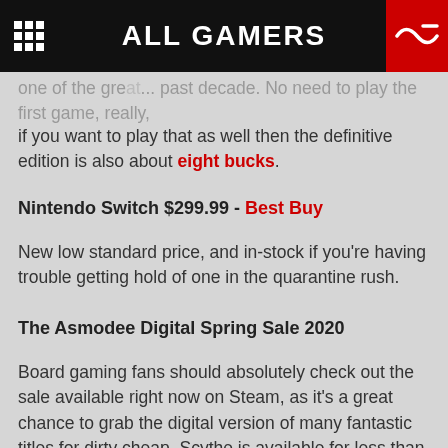ALL GAMERS
one of the gre... past decade. No need to play the first game, really, if you want to play that as well then the definitive edition is also about eight bucks.
Nintendo Switch $299.99 - Best Buy
New low standard price, and in-stock if you're having trouble getting hold of one in the quarantine rush.
The Asmodee Digital Spring Sale 2020
Board gaming fans should absolutely check out the sale available right now on Steam, as it's a great chance to grab the digital version of many fantastic titles for dirty cheap. Scythe is available for less than $10, while Mysterium, Carcassonne, Splendor, and more are $5 or under each. Click here for the full list